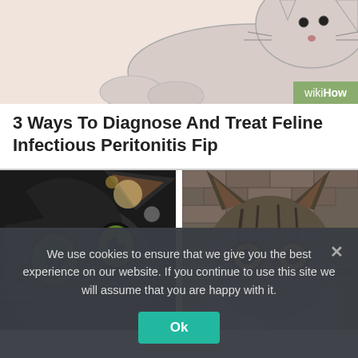[Figure (illustration): WikiHow illustration of a cat (sketch style), partially cut off at top. WikiHow logo badge in bottom-right corner of illustration area.]
3 Ways To Diagnose And Treat Feline Infectious Peritonitis Fip
[Figure (photo): Two side-by-side photos of cats. Left: close-up of a dark grey/black cat with large green-yellow eyes. Right: tabby cat with amber eyes looking at camera, brick wall background.]
We use cookies to ensure that we give you the best experience on our website. If you continue to use this site we will assume that you are happy with it.